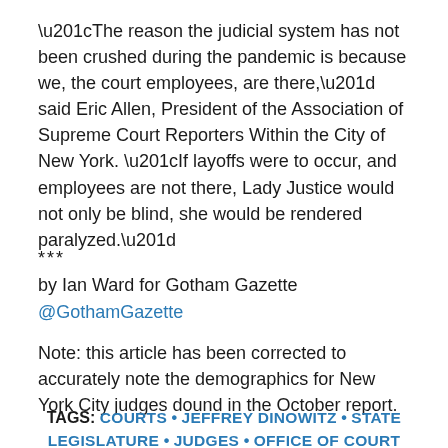“The reason the judicial system has not been crushed during the pandemic is because we, the court employees, are there,” said Eric Allen, President of the Association of Supreme Court Reporters Within the City of New York. “If layoffs were to occur, and employees are not there, Lady Justice would not only be blind, she would be rendered paralyzed.”
***
by Ian Ward for Gotham Gazette
@GothamGazette
Note: this article has been corrected to accurately note the demographics for New York City judges dound in the October report.
TAGS: COURTS • JEFFREY DINOWITZ • STATE LEGISLATURE • JUDGES • OFFICE OF COURT